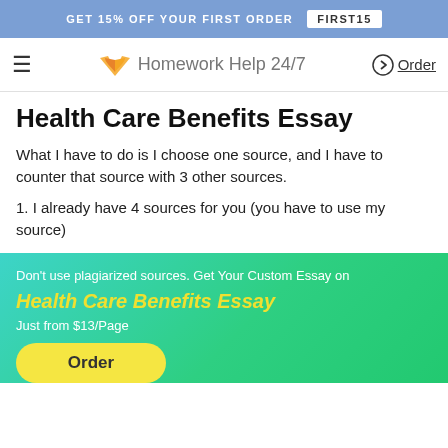GET 15% OFF YOUR FIRST ORDER  FIRST15
Homework Help 24/7  Order
Health Care Benefits Essay
What I have to do is I choose one source, and I have to counter that source with 3 other sources.
1. I already have 4 sources for you (you have to use my source)
Don't use plagiarized sources. Get Your Custom Essay on
Health Care Benefits Essay
Just from $13/Page
Order